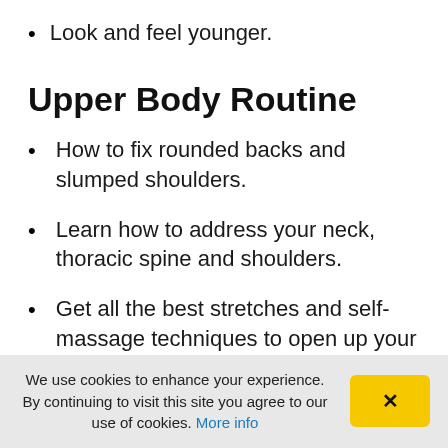Look and feel younger.
Upper Body Routine
How to fix rounded backs and slumped shoulders.
Learn how to address your neck, thoracic spine and shoulders.
Get all the best stretches and self-massage techniques to open up your chest and
We use cookies to enhance your experience. By continuing to visit this site you agree to our use of cookies. More info